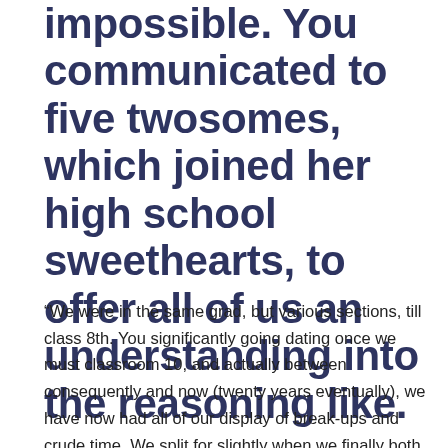impossible. You communicated to five twosomes, which joined her high school sweethearts, to offer all of us an understanding into the reasoning like.
“We were in the same grad, but various sections, till class 8th. You significantly going dating once we must classroom 10, and actually between consequently and now (twenty years eventually), we have now had all of our display of break-ups and crude time. We split for slightly when we finally both acquired finished university, because we felt that we